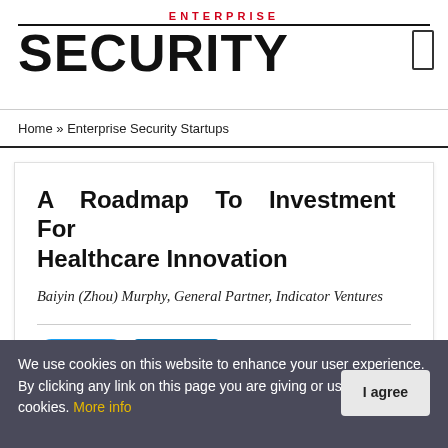ENTERPRISE SECURITY
Home » Enterprise Security Startups
A Roadmap To Investment For Healthcare Innovation
Baiyin (Zhou) Murphy, General Partner, Indicator Ventures
Tweet  Share
We use cookies on this website to enhance your user experience. By clicking any link on this page you are giving your consent for us to set cookies. More info  I agree